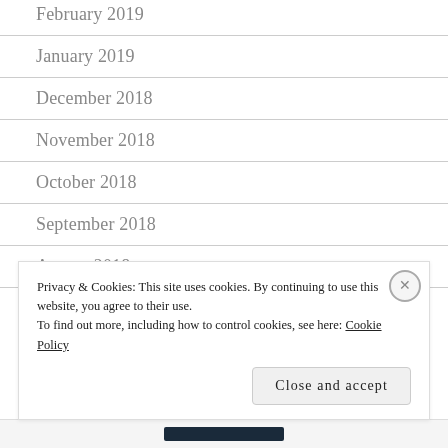February 2019
January 2019
December 2018
November 2018
October 2018
September 2018
August 2018
July 2018
Privacy & Cookies: This site uses cookies. By continuing to use this website, you agree to their use.
To find out more, including how to control cookies, see here: Cookie Policy